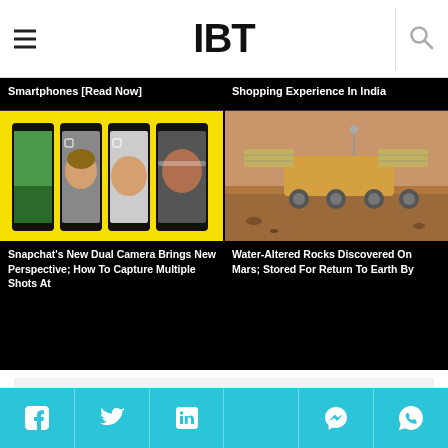IBT
Smartphones [Read Now]
Shopping Experience In India
[Figure (photo): Snapchat dual camera screenshots on yellow background showing multiple phone screens with various photo/video modes]
Snapchat's New Dual Camera Brings New Perspective; How To Capture Multiple Shots At
[Figure (photo): Mars rover on reddish-brown Martian terrain with solar panels and scientific equipment]
Water-Altered Rocks Discovered On Mars; Stored For Return To Earth By
Advertisement
Social share bar: Facebook, Twitter, LinkedIn, (blank), Messenger, WhatsApp